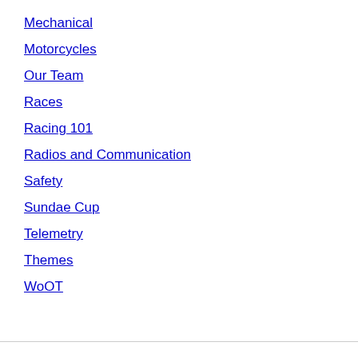Mechanical
Motorcycles
Our Team
Races
Racing 101
Radios and Communication
Safety
Sundae Cup
Telemetry
Themes
WoOT